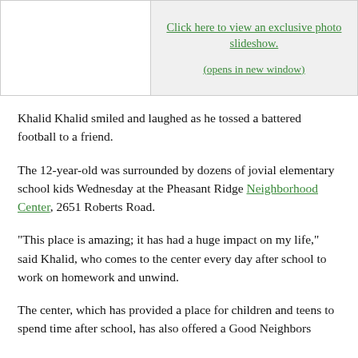[Figure (other): Two-column box at top: left side is white/empty image area, right side is light gray with green hyperlink text: 'Click here to view an exclusive photo slideshow.' and '(opens in new window)']
Khalid Khalid smiled and laughed as he tossed a battered football to a friend.
The 12-year-old was surrounded by dozens of jovial elementary school kids Wednesday at the Pheasant Ridge Neighborhood Center, 2651 Roberts Road.
“This place is amazing; it has had a huge impact on my life,” said Khalid, who comes to the center every day after school to work on homework and unwind.
The center, which has provided a place for children and teens to spend time after school, has also offered a Good Neighbors